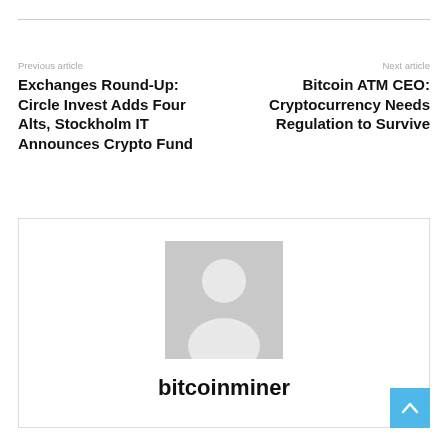Previous article
Exchanges Round-Up: Circle Invest Adds Four Alts, Stockholm IT Announces Crypto Fund
Next article
Bitcoin ATM CEO: Cryptocurrency Needs Regulation to Survive
[Figure (photo): Default user avatar placeholder image — grey silhouette of a person on grey background]
bitcoinminer